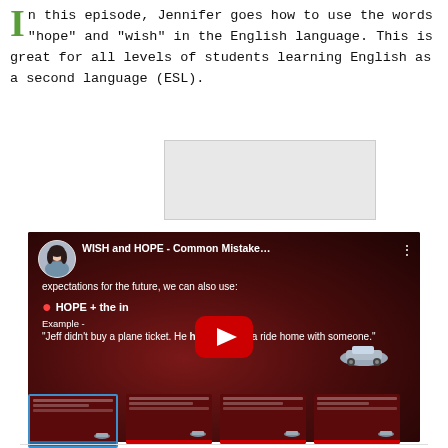In this episode, Jennifer goes how to use the words "hope" and "wish" in the English language. This is great for all levels of students learning English as a second language (ESL).
[Figure (screenshot): Gray advertisement/placeholder box]
[Figure (screenshot): YouTube video player showing 'WISH and HOPE - Common Mistake...' lesson by Jennifer. The video shows text: 'expectations for the future, we can also use:' and 'HOPE + the in...' with Example - '"Jeff didn't buy a plane ticket. He hopes to find a ride home with someone."' with a red play button overlay.]
[Figure (screenshot): Row of four video thumbnails showing the same WISH and HOPE lesson video at different timestamps.]